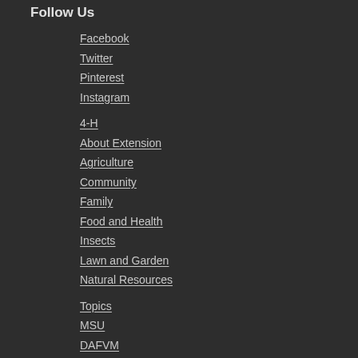Follow Us
Facebook
Twitter
Pinterest
Instagram
4-H
About Extension
Agriculture
Community
Family
Food and Health
Insects
Lawn and Garden
Natural Resources
Topics
MSU
DAFVM
Calendar
Add Event
News
Newsletters
Publications
Shows